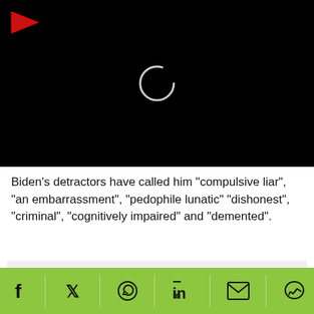[Figure (screenshot): Black video player box with a red play button arrow in the top-left corner and a white loading spinner circle in the center]
Biden's detractors have called him "compulsive liar", "an embarrassment", "pedophile lunatic" "dishonest", "criminal", "cognitively impaired" and "demented".
ADVERTISEMENT
[Figure (infographic): Green social sharing bar with icons for Facebook, Twitter, WhatsApp, LinkedIn, Email, and Messenger]